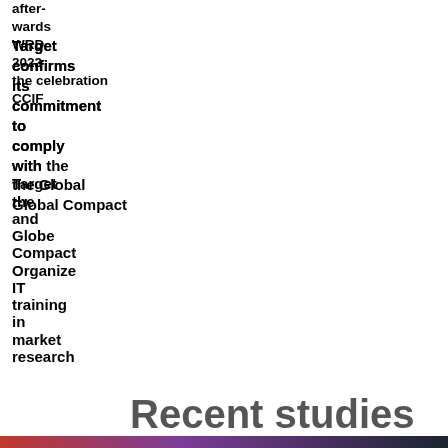after-
wards
WRD
2022
the celebration
CCIF
Target confirms its commitment to comply with the Global Compact
Target organize training in market research
Recent studies